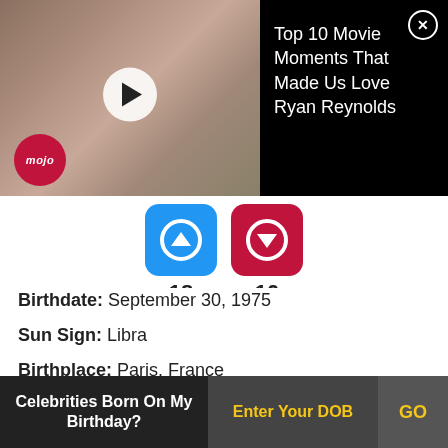[Figure (screenshot): Video ad banner showing a man and child, WatchMojo logo, play button, with title 'Top 10 Movie Moments That Made Us Love Ryan Reynolds' on black background with close button]
[Figure (infographic): Two voting buttons: blue upvote button showing 18, red downvote button showing 10]
Birthdate: September 30, 1975
Sun Sign: Libra
Birthplace: Paris, France
Marion Cotillard delivered an Academy Award-winning performance as Edith Piaf in La Vie en Rose, becoming the first to win the award for a French-language film. She was appreciated for her
Celebrities Born On My Birthday? | Enter Your DOB | GO